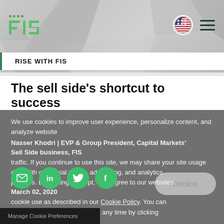FIS
RISE WITH FIS
The sell side's shortcut to success
We use cookies to improve user experience, personalize content, and analyze website traffic. By continuing to use this site, we may share your site usage data with our social media, advertising, and analytics partners. By clicking "Accept," you agree to our website's cookie use as described in our Cookie Policy. You can change your cookie settings at any time by clicking "Preferences."
Nasser Khodri | EVP & Group President, Capital Markets' Sell Side business, FIS
March 02, 2020
Back to Previous →
Decline
Manage Cookie Preferences